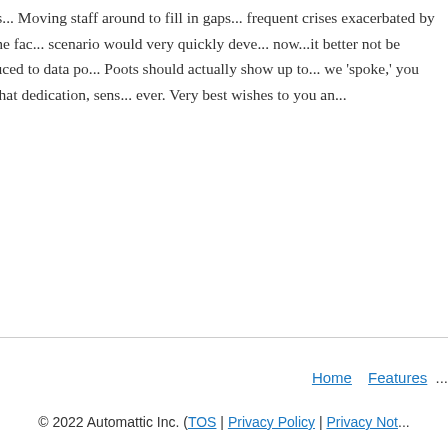Some months ago Poots promis... Moving staff around to fill in gaps... frequent crises exacerbated by p... frustrating,, as you say, is the fac... scenario would very quickly deve... now...it better not be administrat... and patients) reduced to data po... Poots should actually show up to... we 'spoke,' you haven't received... to consider that dedication, sens... ever. Very best wishes to you an...
[Figure (other): Pagination box with a '« P' previous link button, partially visible on right side]
Home   Features   ...
© 2022 Automattic Inc. (TOS | Privacy Policy | Privacy Not...